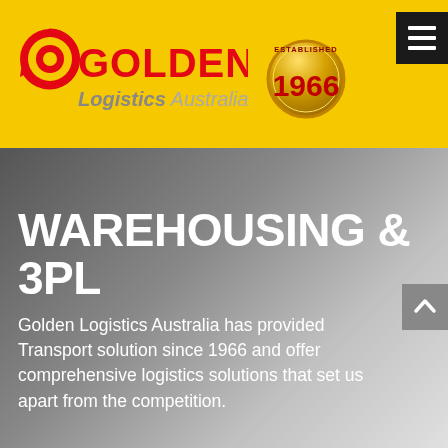[Figure (logo): Golden Logistics Australia logo with yellow background, red and yellow GOLDEN text with swirl graphic, and grey italic 'Logistics Australia' text below. Established 1966 gold medallion badge to the right. Black hamburger menu icon in top right corner.]
WAREHOUSING & 3PL
Golden Logistics Australia has provided Transport solution since 1966 and offer comprehensive logistics solutions that set us apart from the competition.